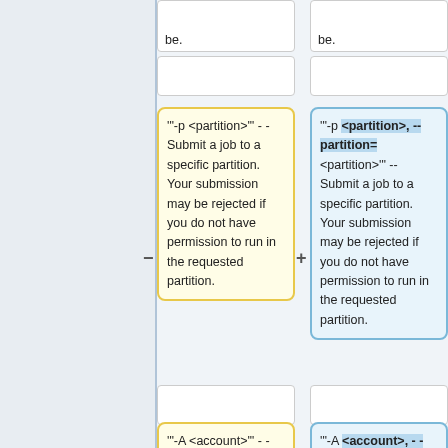be.
be.
"-p <partition>'" - - Submit a job to a specific partition. Your submission may be rejected if you do not have permission to run in the requested partition.
"-p <partition>, --partition= <partition>'" -- Submit a job to a specific partition. Your submission may be rejected if you do not have permission to run in the requested partition.
"-A <account>'" - - Associate a job with a particular SLURM usage account.
"-A <account>, - -account= <account>'" -- Associate a job with a particular